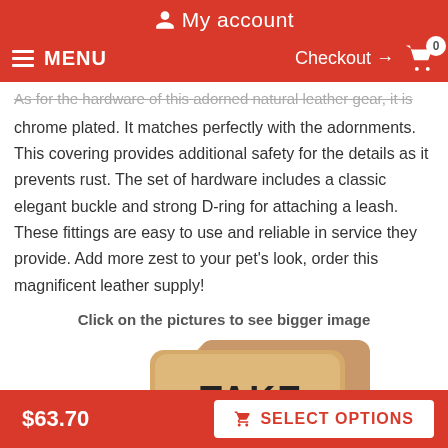My account
MENU  Checkout → 0
As for the hardware of this adorned natural leather gear, it is chrome plated. It matches perfectly with the adornments. This covering provides additional safety for the details as it prevents rust. The set of hardware includes a classic elegant buckle and strong D-ring for attaching a leash. These fittings are easy to use and reliable in service they provide. Add more zest to your pet's look, order this magnificent leather supply!
Click on the pictures to see bigger image
[Figure (photo): Tan/kraft colored packaging boxes with 'TAKE YOU' text visible, product packaging for a pet leather supply item]
$63.70  SELECT OPTIONS